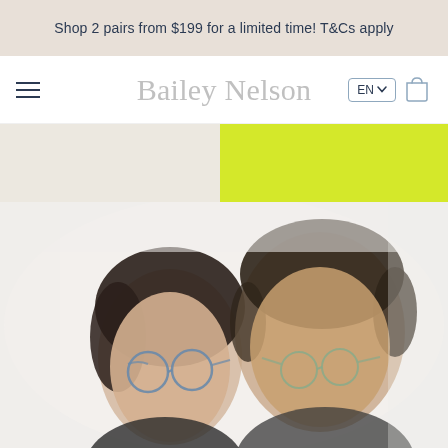Shop 2 pairs from $199 for a limited time! T&Cs apply
Bailey Nelson
[Figure (photo): Two people wearing eyeglasses smiling, a promotional hero image for Bailey Nelson eyewear. A woman and a man are shown close up, both wearing glasses frames, on a light background.]